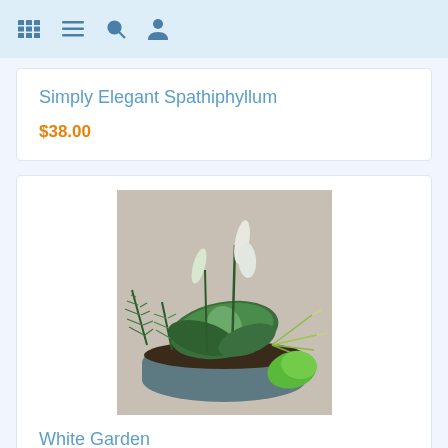navigation icons: grid, menu, search, user
Simply Elegant Spathiphyllum
$38.00
[Figure (photo): A green potted plant arrangement in a grey bowl with ferns, peace lily, spider plant and other foliage against a light grey wall]
White Garden
$79.00